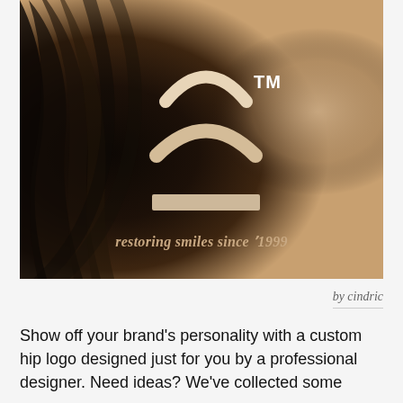[Figure (logo): Dark sepia-toned photo of a person's hair as background, with a dental brand logo consisting of three arc/smile shapes stacked (two curved arcs and one straight rectangle), a 'TM' trademark symbol, and italic tagline text 'restoring smiles since *1999']
by cindric
Show off your brand's personality with a custom hip logo designed just for you by a professional designer. Need ideas? We've collected some